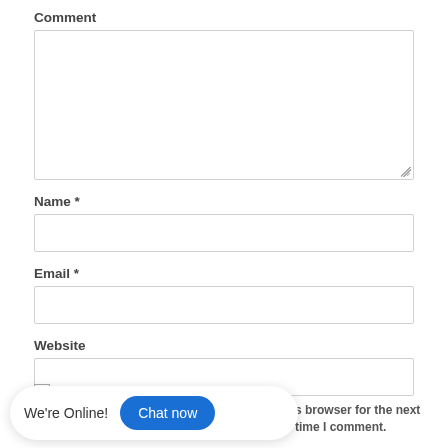Comment
[Figure (screenshot): Comment textarea input box, empty, with resize handle at bottom right]
Name *
[Figure (screenshot): Name single-line text input box, empty]
Email *
[Figure (screenshot): Email single-line text input box, empty]
Website
[Figure (screenshot): Website single-line text input box, empty]
We're Online!
Chat now
s browser for the next time I comment.